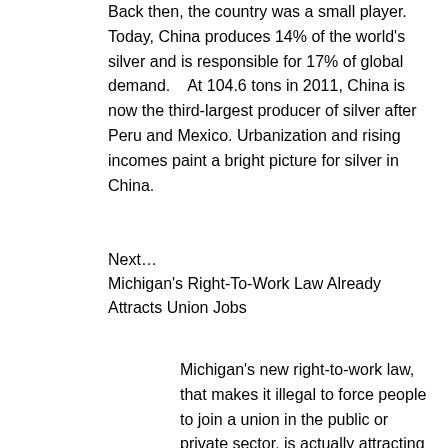Back then, the country was a small player. Today, China produces 14% of the world's silver and is responsible for 17% of global demand.    At 104.6 tons in 2011, China is now the third-largest producer of silver after Peru and Mexico. Urbanization and rising incomes paint a bright picture for silver in China.
Next…
Michigan's Right-To-Work Law Already Attracts Union Jobs
http://www.testosteronepit.com
Michigan's new right-to-work law, that makes it illegal to force people to join a union in the public or private sector, is actually attracting more union workers jobs.   Who knows, despite Obama and